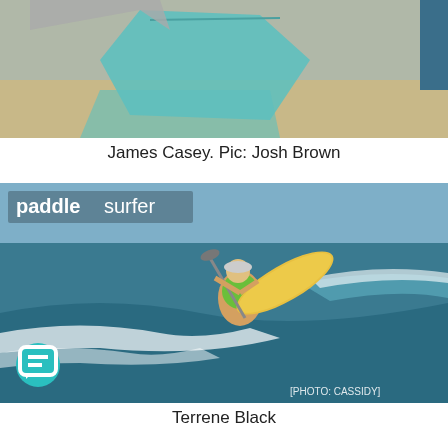[Figure (photo): Top portion of a photo showing a person on a beach carrying a paddleboard, with sand and sky visible]
James Casey. Pic: Josh Brown
[Figure (photo): Paddle surfer performing a maneuver on a wave, wearing a green vest, on a yellow board. Paddlesurfer magazine watermark in top-left corner. [PHOTO: CASSIDY] credit in bottom-right.]
Terrene Black